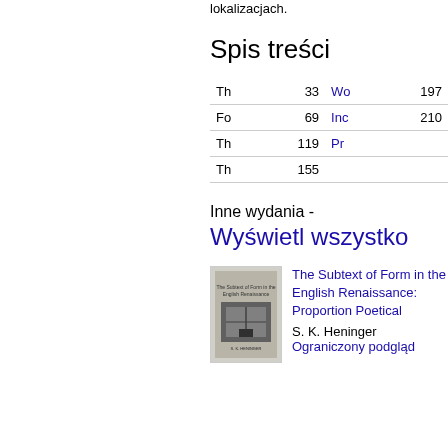lokalizacjach.
Spis treści
|  |  |  |  |
| --- | --- | --- | --- |
| Th | 33 | Wo | 197 |
| Fo | 69 | Inc | 210 |
| Th | 119 | Pr |  |
| Th | 155 |  |  |
Inne wydania -
Wyświetl wszystko
[Figure (photo): Book cover of The Subtext of Form in the English Renaissance]
The Subtext of Form in the English Renaissance: Proportion Poetical
S. K. Heninger
Ograniczony podgląd